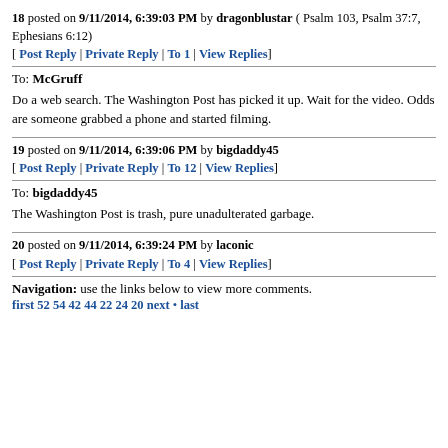18 posted on 9/11/2014, 6:39:03 PM by dragonblustar ( Psalm 103, Psalm 37:7, Ephesians 6:12)
[ Post Reply | Private Reply | To 1 | View Replies]
To: McGruff
Do a web search. The Washington Post has picked it up. Wait for the video. Odds are someone grabbed a phone and started filming.
19 posted on 9/11/2014, 6:39:06 PM by bigdaddy45
[ Post Reply | Private Reply | To 12 | View Replies]
To: bigdaddy45
The Washington Post is trash, pure unadulterated garbage.
20 posted on 9/11/2014, 6:39:24 PM by laconic
[ Post Reply | Private Reply | To 4 | View Replies]
Navigation: use the links below to view more comments.